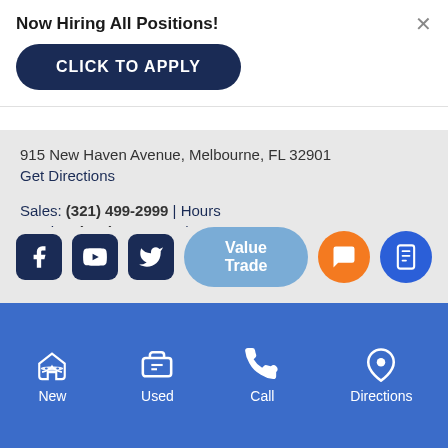Now Hiring All Positions!
CLICK TO APPLY
915 New Haven Avenue, Melbourne, FL 32901
Get Directions
Sales: (321) 499-2999 | Hours
Service: (321) 723-4500 | Hours
Coastal Hyundai
[Figure (screenshot): Social media icons (Facebook, YouTube, Twitter), Value Trade button, orange chat button, blue phone/message button]
[Figure (infographic): Bottom navigation bar with New (car icon), Used (card icon), Call (phone icon), Directions (pin icon)]